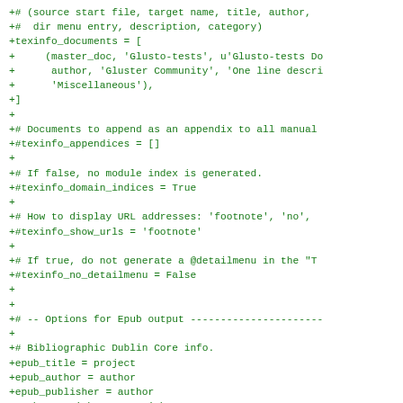+# (source start file, target name, title, author,
+#  dir menu entry, description, category)
+texinfo_documents = [
+    (master_doc, 'Glusto-tests', u'Glusto-tests Do
+     author, 'Gluster Community', 'One line descri
+     'Miscellaneous'),
+]
+
+# Documents to append as an appendix to all manual
+#texinfo_appendices = []
+
+# If false, no module index is generated.
+#texinfo_domain_indices = True
+
+# How to display URL addresses: 'footnote', 'no',
+#texinfo_show_urls = 'footnote'
+
+# If true, do not generate a @detailmenu in the "T
+#texinfo_no_detailmenu = False
+
+
+# -- Options for Epub output ----------------------
+
+# Bibliographic Dublin Core info.
+epub_title = project
+epub_author = author
+epub_publisher = author
+epub_copyright = copyright
+
+# The basename for the epub file. It defaults to t